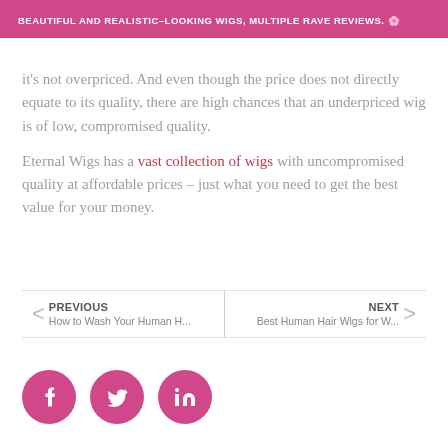BEAUTIFUL AND REALISTIC–LOOKING WIGS, MULTIPLE RAVE REVIEWS. 🌸
it's not overpriced. And even though the price does not directly equate to its quality, there are high chances that an underpriced wig is of low, compromised quality.

Eternal Wigs has a vast collection of wigs with uncompromised quality at affordable prices – just what you need to get the best value for your money.
PREVIOUS: How to Wash Your Human H... | NEXT: Best Human Hair Wigs for W...
[Figure (other): Three pink circular social media share buttons: Facebook, Twitter, LinkedIn]